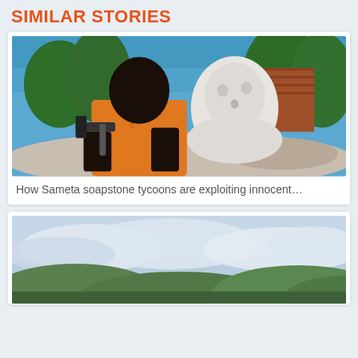SIMILAR STORIES
[Figure (photo): A man in an orange t-shirt and gloves carving a large white soapstone bust/sculpture outdoors. Trees and a brick building are visible in the background.]
How Sameta soapstone tycoons are exploiting innocent…
[Figure (photo): A landscape photo showing hills or mountains partially obscured by low clouds or mist, with blue sky above.]